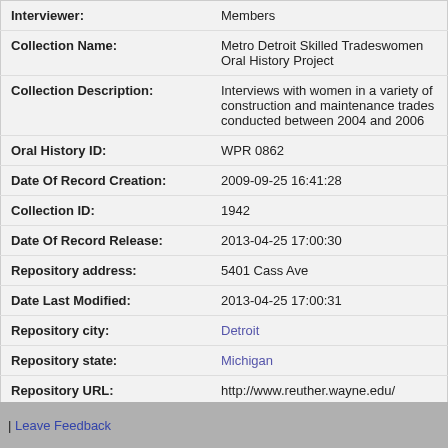| Field | Value |
| --- | --- |
| Interviewer: | Members |
| Collection Name: | Metro Detroit Skilled Tradeswomen Oral History Project |
| Collection Description: | Interviews with women in a variety of construction and maintenance trades conducted between 2004 and 2006 |
| Oral History ID: | WPR 0862 |
| Date Of Record Creation: | 2009-09-25 16:41:28 |
| Collection ID: | 1942 |
| Date Of Record Release: | 2013-04-25 17:00:30 |
| Repository address: | 5401 Cass Ave |
| Date Last Modified: | 2013-04-25 17:00:31 |
| Repository city: | Detroit |
| Repository state: | Michigan |
| Repository URL: | http://www.reuther.wayne.edu/ |
| Contact Name: | LeFevre, William |
| Contact Email Address: | reutherreference@wayne.edu |
Report a Problem with this Resource
| Leave Feedback